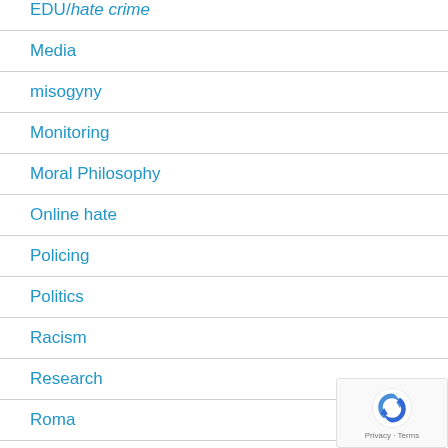Media
misogyny
Monitoring
Moral Philosophy
Online hate
Policing
Politics
Racism
Research
Roma
Stirring up hatred